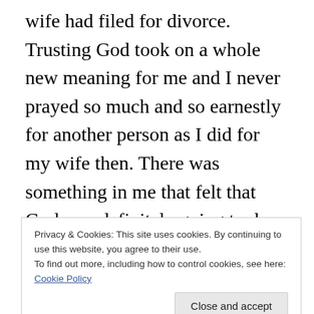wife had filed for divorce. Trusting God took on a whole new meaning for me and I never prayed so much and so earnestly for another person as I did for my wife then. There was something in me that felt that God was definitely going to do something amazing in my marriage, but each time I felt that, the marriage itself took more steps backwards. There are not many things more painful that reading through divorce papers that came from the one person you love the most in the world. But as that pain grew more unbearable, I felt Gods love for me growing as well and soon, while I didn't feel giddy and
Privacy & Cookies: This site uses cookies. By continuing to use this website, you agree to their use. To find out more, including how to control cookies, see here: Cookie Policy
this, God provided me with a great place to live and a